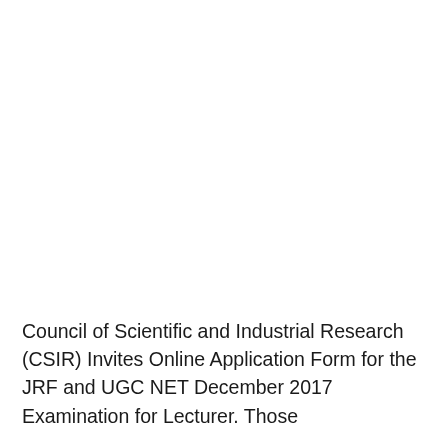Council of Scientific and Industrial Research (CSIR) Invites Online Application Form for the JRF and UGC NET December 2017 Examination for Lecturer. Those